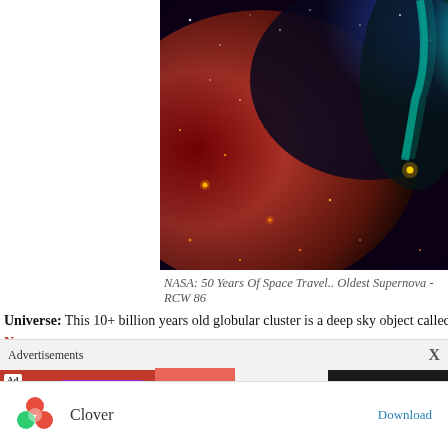[Figure (photo): NASA nebula image showing RCW 86 supernova remnant with red, blue, and teal colors against a starfield]
NASA: 50 Years Of Space Travel.. Oldest Supernova - RCW 86
Universe: This 10+ billion years old globular cluster is a deep sky object called N... ancient collections of stars known. The supernova image is the oldest documented... with data from four space telescopes to show a wavelength view of the remains o...
“That’s one small step for (a) man; one giant leap for mankind.” Neil Armstr...
[Figure (photo): Aerial or satellite image of Mars or desert terrain, brown/tan colored landscape]
Advertisements
[Figure (photo): Advertisement banner with dating app and Clover app advertisement]